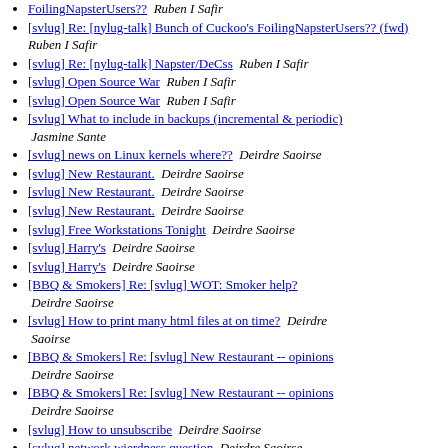[svlug] Re: [nylug-talk] Bunch of Cuckoo's FoilingNapsterUsers??  Ruben I Safir
[svlug] Re: [nylug-talk] Bunch of Cuckoo's FoilingNapsterUsers?? (fwd)  Ruben I Safir
[svlug] Re: [nylug-talk] Napster/DeCss  Ruben I Safir
[svlug] Open Source War  Ruben I Safir
[svlug] Open Source War  Ruben I Safir
[svlug] What to include in backups (incremental & periodic)  Jasmine Sante
[svlug] news on Linux kernels where??  Deirdre Saoirse
[svlug] New Restaurant.  Deirdre Saoirse
[svlug] New Restaurant.  Deirdre Saoirse
[svlug] New Restaurant.  Deirdre Saoirse
[svlug] Free Workstations Tonight  Deirdre Saoirse
[svlug] Harry's  Deirdre Saoirse
[svlug] Harry's  Deirdre Saoirse
[BBQ & Smokers] Re: [svlug] WOT: Smoker help?  Deirdre Saoirse
[svlug] How to print many html files at on time?  Deirdre Saoirse
[BBQ & Smokers] Re: [svlug] New Restaurant -- opinions  Deirdre Saoirse
[BBQ & Smokers] Re: [svlug] New Restaurant -- opinions  Deirdre Saoirse
[svlug] How to unsubscribe  Deirdre Saoirse
[svlug] network wierdness question  Deirdre Saoirse